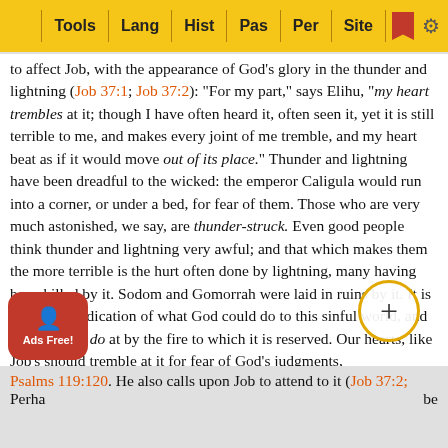Tools | Lang | Hist | Pas | Per | Site
to affect Job, with the appearance of God's glory in the thunder and lightning (Job 37:1; Job 37:2): "For my part," says Elihu, "my heart trembles at it; though I have often heard it, often seen it, yet it is still terrible to me, and makes every joint of me tremble, and my heart beat as if it would move out of its place." Thunder and lightning have been dreadful to the wicked: the emperor Caligula would run into a corner, or under a bed, for fear of them. Those who are very much astonished, we say, are thunder-struck. Even good people think thunder and lightning very awful; and that which makes them the more terrible is the hurt often done by lightning, many having been killed by it. Sodom and Gomorrah were laid in ruins by it. It is a sensible indication of what God could do to this sinful world, and what he will do at by the fire to which it is reserved. Our hearts, like Job's should tremble at it for fear of God's judgments, Psalms 119:120. He also calls upon Job to attend to it (Job 37:2;
Perha... be